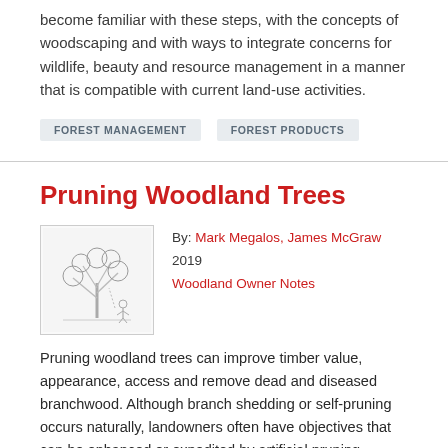become familiar with these steps, with the concepts of woodscaping and with ways to integrate concerns for wildlife, beauty and resource management in a manner that is compatible with current land-use activities.
FOREST MANAGEMENT
FOREST PRODUCTS
Pruning Woodland Trees
By: Mark Megalos, James McGraw
2019
Woodland Owner Notes
[Figure (illustration): Small thumbnail illustration of woodland/tree pruning scene with sketched figures]
Pruning woodland trees can improve timber value, appearance, access and remove dead and diseased branchwood. Although branch shedding or self-pruning occurs naturally, landowners often have objectives that can be enhanced or expedited by artificial pruning. Pruning is the removal of live or dead branches from standing trees. Natural-target pruning is a proven technique for removing branches that avoids discolored or decaying wood associated with other pruning methods. This